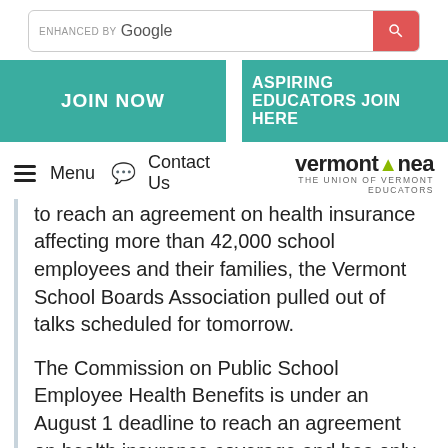[Figure (screenshot): Google search bar with red search button]
[Figure (screenshot): JOIN NOW and ASPIRING EDUCATORS JOIN HERE teal navigation buttons]
Menu  Contact Us  |  vermont△nea  THE UNION OF VERMONT EDUCATORS
to reach an agreement on health insurance affecting more than 42,000 school employees and their families, the Vermont School Boards Association pulled out of talks scheduled for tomorrow.
The Commission on Public School Employee Health Benefits is under an August 1 deadline to reach an agreement on health insurance coverage and has only met twice so far. The VSBA team continues to demand that members of the of the educators' team be barred from talks, and